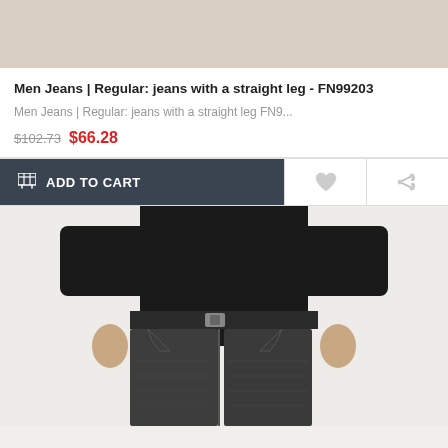[Figure (photo): Top portion of a product image showing a beige/tan background, product photo cropped]
Men Jeans | Regular: jeans with a straight leg - FN99203
Men Jeans | Regular: jeans with a straight leg FN9...
$102.73  $66.28
ADD TO CART
[Figure (photo): Photo of a man wearing dark/charcoal grey straight leg jeans with a black sweater, showing waist and legs area]